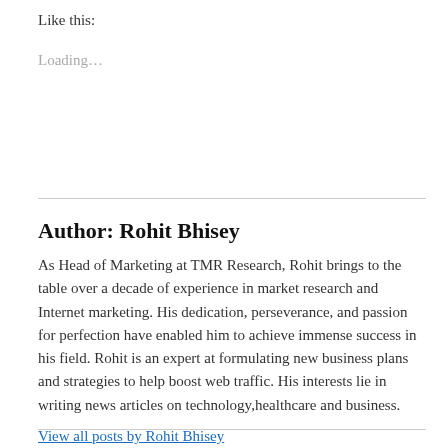Like this:
Loading...
Author: Rohit Bhisey
As Head of Marketing at TMR Research, Rohit brings to the table over a decade of experience in market research and Internet marketing. His dedication, perseverance, and passion for perfection have enabled him to achieve immense success in his field. Rohit is an expert at formulating new business plans and strategies to help boost web traffic. His interests lie in writing news articles on technology,healthcare and business.
View all posts by Rohit Bhisey